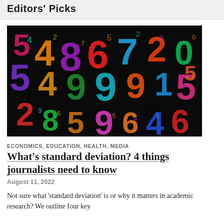Editors' Picks
[Figure (photo): Colorful chalk-drawn numbers (digits 0-9) scattered on a black background in various sizes and colors including pink, purple, yellow, orange, red, teal, and green.]
ECONOMICS, EDUCATION, HEALTH, MEDIA
What's standard deviation? 4 things journalists need to know
August 11, 2022
Not sure what 'standard deviation' is or why it matters in academic research? We outline four key